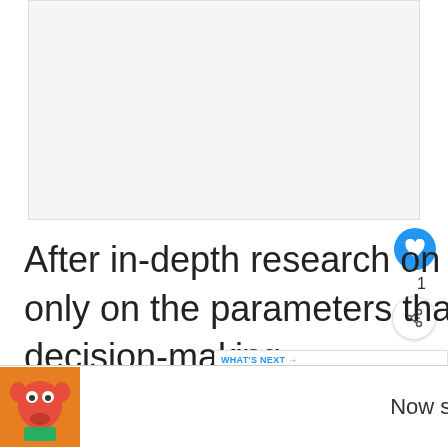[Figure (other): Large blank/white rectangular ad placeholder area at top of page]
After in-depth research on both models, I have focused only on the parameters that matter the most for your decision-making
[Figure (other): WHAT'S NEXT overlay with thumbnail image showing What Are The Symptoms o...]
1. Engine Reliability:
[Figure (other): Bottom ad banner with animated character and 'Now streaming' text, with skip/close controls]
[Figure (logo): WW logo in bottom right corner]